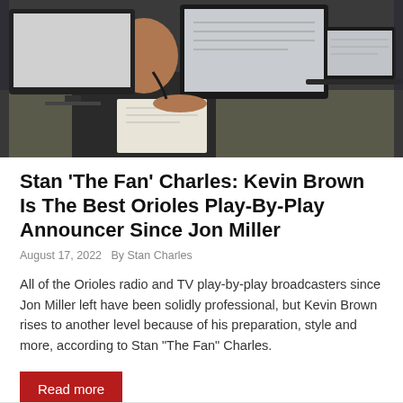[Figure (photo): A person sitting at a broadcast desk with multiple computer monitors and laptops open, working in what appears to be a sports broadcast booth or press box environment.]
Stan ‘The Fan’ Charles: Kevin Brown Is The Best Orioles Play-By-Play Announcer Since Jon Miller
August 17, 2022    By Stan Charles
All of the Orioles radio and TV play-by-play broadcasters since Jon Miller left have been solidly professional, but Kevin Brown rises to another level because of his preparation, style and more, according to Stan “The Fan” Charles.
Read more